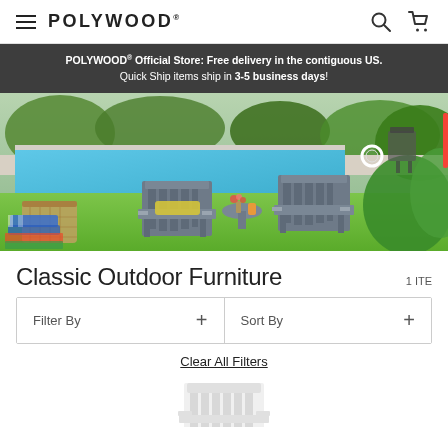POLYWOOD
POLYWOOD® Official Store: Free delivery in the contiguous US. Quick Ship items ship in 3-5 business days!
[Figure (photo): Outdoor patio scene showing two grey Adirondack chairs with a small side table between them, placed on green grass beside a swimming pool. A wicker basket with colorful towels is on the left. Garden and grill in background.]
Classic Outdoor Furniture
1 ITE
Filter By  +
Sort By  +
Clear All Filters
[Figure (photo): Partial view of a white Adirondack chair product photo at bottom of page.]